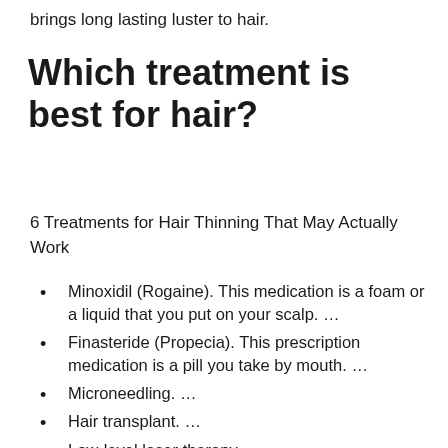brings long lasting luster to hair.
Which treatment is best for hair?
6 Treatments for Hair Thinning That May Actually Work
Minoxidil (Rogaine). This medication is a foam or a liquid that you put on your scalp. …
Finasteride (Propecia). This prescription medication is a pill you take by mouth. …
Microneedling. …
Hair transplant. …
Low-level laser therapy. …